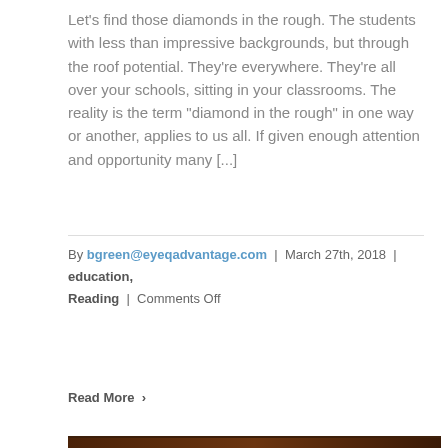Let's find those diamonds in the rough. The students with less than impressive backgrounds, but through the roof potential. They're everywhere. They're all over your schools, sitting in your classrooms. The reality is the term "diamond in the rough" in one way or another, applies to us all. If given enough attention and opportunity many [...]
By bgreen@eyeqadvantage.com | March 27th, 2018 | education, Reading | Comments Off
Read More ›
[Figure (photo): A stack of books photographed from the side against a dark brown background, showing their spines and pages fanned slightly.]